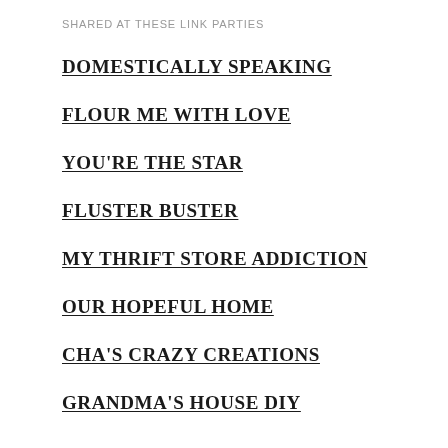SHARED AT THESE LINK PARTIES
DOMESTICALLY SPEAKING
FLOUR ME WITH LOVE
YOU'RE THE STAR
FLUSTER BUSTER
MY THRIFT STORE ADDICTION
OUR HOPEFUL HOME
CHA'S CRAZY CREATIONS
GRANDMA'S HOUSE DIY